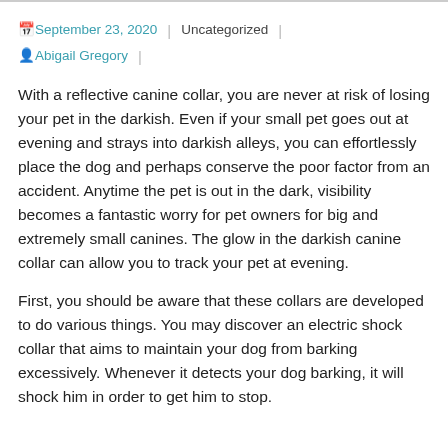September 23, 2020 | Uncategorized | Abigail Gregory |
With a reflective canine collar, you are never at risk of losing your pet in the darkish. Even if your small pet goes out at evening and strays into darkish alleys, you can effortlessly place the dog and perhaps conserve the poor factor from an accident. Anytime the pet is out in the dark, visibility becomes a fantastic worry for pet owners for big and extremely small canines. The glow in the darkish canine collar can allow you to track your pet at evening.
First, you should be aware that these collars are developed to do various things. You may discover an electric shock collar that aims to maintain your dog from barking excessively. Whenever it detects your dog barking, it will shock him in order to get him to stop.